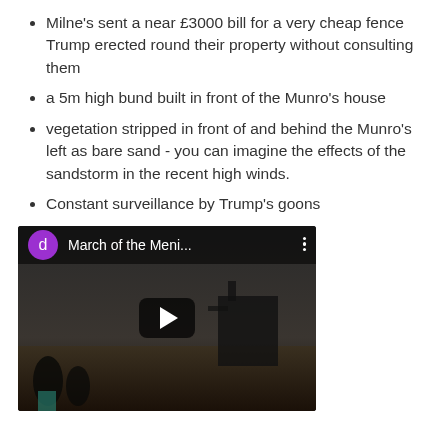Milne's sent a near £3000 bill for a very cheap fence Trump erected round their property without consulting them
a 5m high bund built in front of the Munro's house
vegetation stripped in front of and behind the Munro's left as bare sand - you can imagine the effects of the sandstorm in the recent high winds.
Constant surveillance by Trump's goons
[Figure (screenshot): YouTube video thumbnail showing 'March of the Meni...' with a purple avatar icon labeled 'd', a play button overlay, and a dark outdoor scene in the background.]